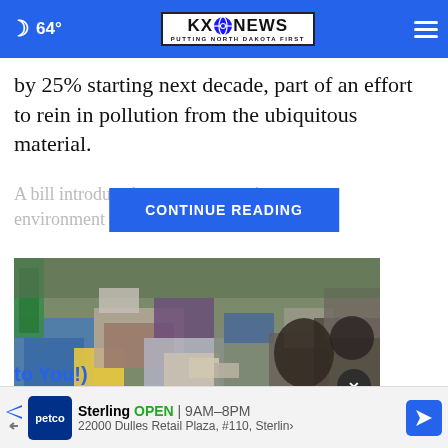KXO NEWS — PUTTING NORTH DAKOTA FIRST | 64°
by 25% starting next decade, part of an effort to rein in pollution from the ubiquitous material.
A bill introduced ... oring environment al ... ther to avoid
[Figure (other): CONTINUE READING button overlay on faded article text]
[Figure (photo): Cluttered garage or storage room filled with boxes, tools, plastic containers, and miscellaneous items]
Sterling OPEN | 9AM–8PM 22000 Dulles Retail Plaza, #110, Sterling
to You!)